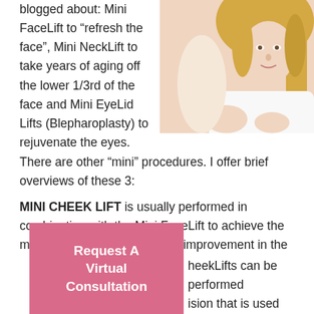blogged about:  Mini FaceLift to “refresh the face”, Mini NeckLift to take years of aging off the lower 1/3rd of the face and Mini EyeLid Lifts (Blepharoplasty) to rejuvenate the eyes.  There are other “mini” procedures. I offer brief overviews of these 3:
[Figure (photo): Photo of a woman with blonde hair wearing a white outfit, embracing another person, cropped to show upper body and face area.]
MINI CHEEK LIFT is usually performed in combination with the Mini FaceLift to achieve the maximum desired results and improvement in the cheekLifts can be performed using the same incision that is used for the Mini FaceLift, minimizing incisions and scarring.
Request A Virtual Consultation